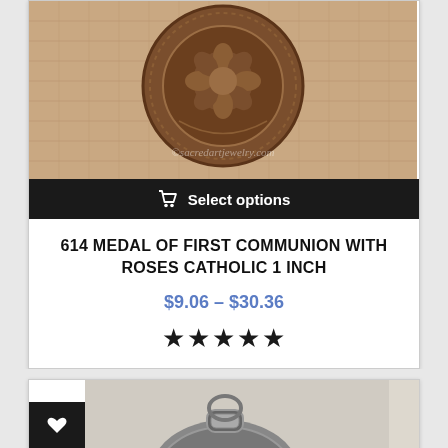[Figure (photo): Close-up photo of a bronze/copper colored decorative Catholic medal with ornate rose design and beaded border, shown on burlap fabric background. Watermark text reads ©sacredartjewelry.com]
Select options
614 MEDAL OF FIRST COMMUNION WITH ROSES CATHOLIC 1 INCH
$9.06 – $30.36
★★★★★
[Figure (photo): Close-up photo of a silver/antique colored small Catholic medal showing partial text 'E LA IN...' visible, with a ring connector at top. Wishlist (heart) and search (magnifying glass) buttons visible on left side.]